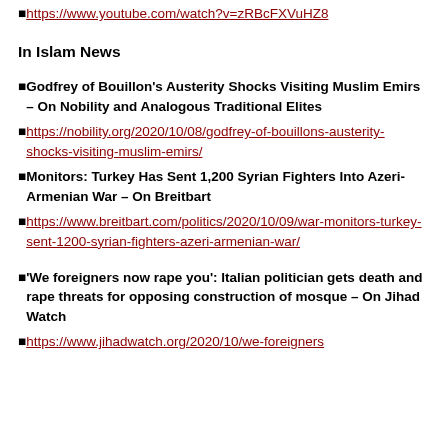https://www.youtube.com/watch?v=zRBcFXVuHZ8
In Islam News
Godfrey of Bouillon's Austerity Shocks Visiting Muslim Emirs – On Nobility and Analogous Traditional Elites
https://nobility.org/2020/10/08/godfrey-of-bouillons-austerity-shocks-visiting-muslim-emirs/
Monitors: Turkey Has Sent 1,200 Syrian Fighters Into Azeri-Armenian War – On Breitbart
https://www.breitbart.com/politics/2020/10/09/war-monitors-turkey-sent-1200-syrian-fighters-azeri-armenian-war/
'We foreigners now rape you': Italian politician gets death and rape threats for opposing construction of mosque – On Jihad Watch
https://www.jihadwatch.org/2020/10/we-foreigners...